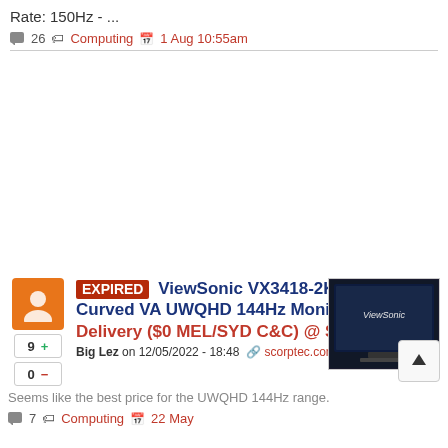Rate: 150Hz - ...
26  Computing  1 Aug 10:55am
EXPIRED ViewSonic VX3418-2KPC 34inch Curved VA UWQHD 144Hz Monitor $499 + Delivery ($0 MEL/SYD C&C) @ Scorptec
Big Lez on 12/05/2022 - 18:48  scorptec.com.au
[Figure (photo): ViewSonic curved monitor product image]
Seems like the best price for the UWQHD 144Hz range.
7  Computing  22 May